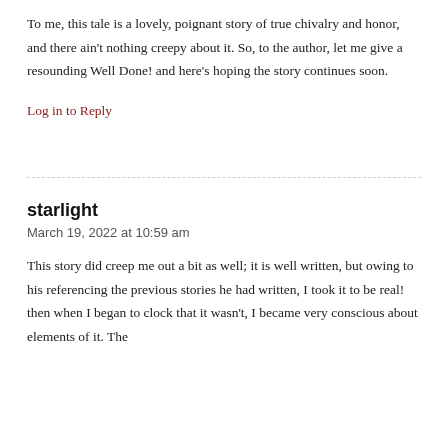To me, this tale is a lovely, poignant story of true chivalry and honor, and there ain't nothing creepy about it. So, to the author, let me give a resounding Well Done! and here's hoping the story continues soon.
Log in to Reply
starlight
March 19, 2022 at 10:59 am
This story did creep me out a bit as well; it is well written, but owing to his referencing the previous stories he had written, I took it to be real! then when I began to clock that it wasn't, I became very conscious about elements of it. The